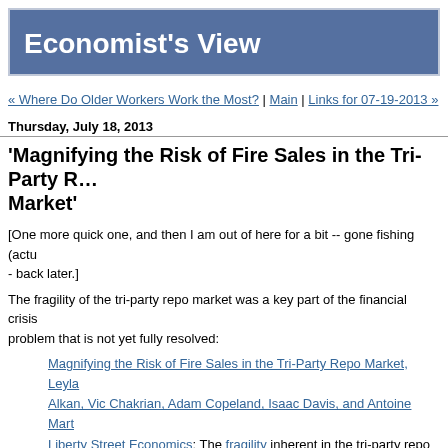Economist's View
« Where Do Older Workers Work the Most? | Main | Links for 07-19-2013 »
Thursday, July 18, 2013
'Magnifying the Risk of Fire Sales in the Tri-Party Repo Market'
[One more quick one, and then I am out of here for a bit -- gone fishing (actu- - back later.]
The fragility of the tri-party repo market was a key part of the financial crisis, problem that is not yet fully resolved:
Magnifying the Risk of Fire Sales in the Tri-Party Repo Market, Leyla Alkan, Vic Chakrian, Adam Copeland, Isaac Davis, and Antoine Mart- Liberty Street Economics: The fragility inherent in the tri-party repo m- came to light during the 2008-09 financial crisis. One of the main vulnerabilities is the risk of fire sales, which can be enhanced by the response of some investors to stress events. Money market mutual f-